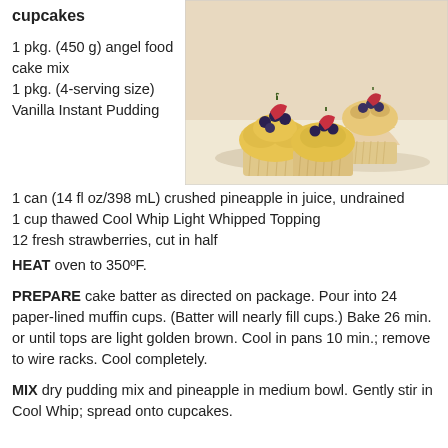cupcakes
[Figure (photo): Three angel food cupcakes topped with whipped cream/pudding frosting and fresh strawberries and blueberries, on a light background.]
1 pkg. (450 g) angel food cake mix
1 pkg. (4-serving size) Vanilla Instant Pudding
1 can (14 fl oz/398 mL) crushed pineapple in juice, undrained
1 cup thawed Cool Whip Light Whipped Topping
12 fresh strawberries, cut in half
HEAT oven to 350ºF.
PREPARE cake batter as directed on package. Pour into 24 paper-lined muffin cups. (Batter will nearly fill cups.) Bake 26 min. or until tops are light golden brown. Cool in pans 10 min.; remove to wire racks. Cool completely.
MIX dry pudding mix and pineapple in medium bowl. Gently stir in Cool Whip; spread onto cupcakes.